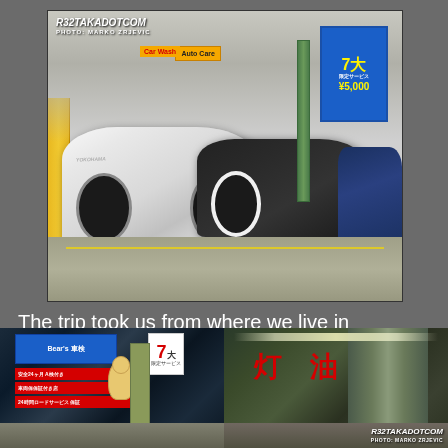[Figure (photo): A white modified Nissan Silvia (S15) and a black sedan parked at a Japanese gas station at night with fluorescent ceiling lights, Shell signs, and yellow floor markings]
The trip took us from where we live in downtown Tokyo, to Shinagawa, to meet up with some other people.
[Figure (photo): Two bottom photos of a Japanese gas station showing blue Bears car dealership sign, a 7大 sign in red/white, red strip with Japanese text, a mascot figure, and fuel pump equipment with kanji 灯油 (kerosene) sign on the right panel]